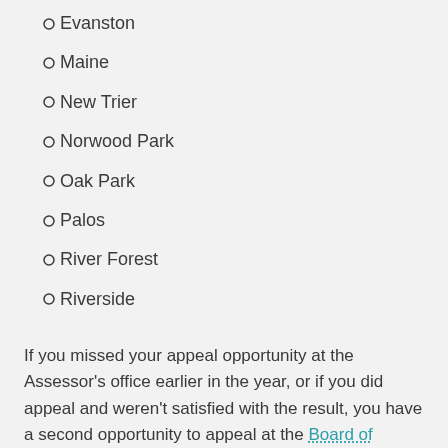Evanston
Maine
New Trier
Norwood Park
Oak Park
Palos
River Forest
Riverside
If you missed your appeal opportunity at the Assessor's office earlier in the year, or if you did appeal and weren't satisfied with the result, you have a second opportunity to appeal at the Board of Review. Appealing your home's 2018 assessed value is the only way to achieve property tax relief on your second installment property tax bill in July 2019, other than selling your home or claiming a new